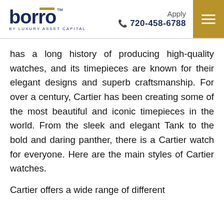borro BY LUXURY ASSET CAPITAL | Apply | 720-458-6788
has a long history of producing high-quality watches, and its timepieces are known for their elegant designs and superb craftsmanship. For over a century, Cartier has been creating some of the most beautiful and iconic timepieces in the world. From the sleek and elegant Tank to the bold and daring panther, there is a Cartier watch for everyone. Here are the main styles of Cartier watches.
Cartier offers a wide range of different